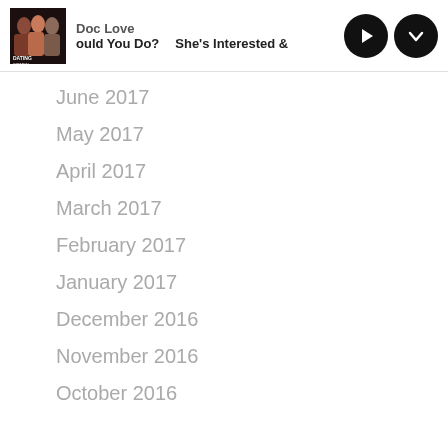Doc Love | ould You Do? | She's Interested
June 2017
May 2017
April 2017
March 2017
February 2017
January 2017
December 2016
November 2016
October 2016